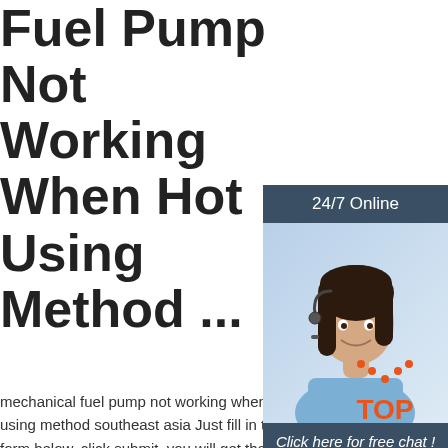Fuel Pump Not Working When Hot Using Method ...
mechanical fuel pump not working when hot using method southeast asia Just fill in the form below, click submit, you will get the price list, and we will contact you within one working day. Please also feel free to contact us via email or
[Figure (infographic): Sidebar advertisement with dark navy header reading '24/7 Online', a photo of a smiling woman with headset, a navy box with italic text 'Click here for free chat !', and an orange button labeled 'QUOTATION']
[Figure (other): TOP button icon with orange dotted arc above the word TOP in orange text]